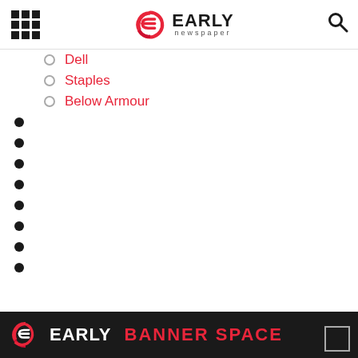Early Newspaper
Dell
Staples
Below Armour
Early Newspaper — BANNER SPACE